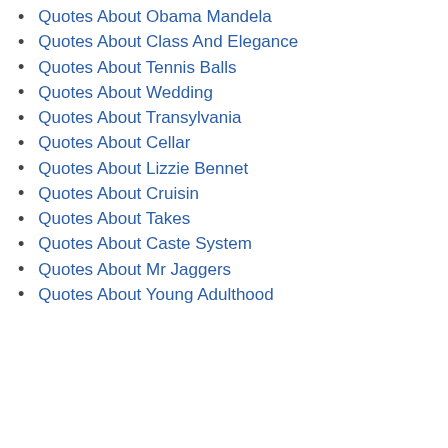Quotes About Obama Mandela
Quotes About Class And Elegance
Quotes About Tennis Balls
Quotes About Wedding
Quotes About Transylvania
Quotes About Cellar
Quotes About Lizzie Bennet
Quotes About Cruisin
Quotes About Takes
Quotes About Caste System
Quotes About Mr Jaggers
Quotes About Young Adulthood